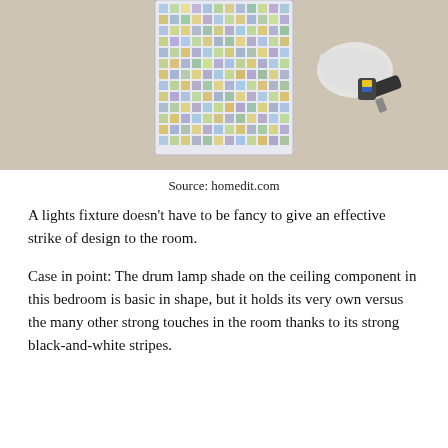[Figure (photo): A cylindrical lamp shade with a colorful square pattern sitting on beige carpet, with a glue gun or tool lying nearby on the carpet.]
Source: homedit.com
A lights fixture doesn't have to be fancy to give an effective strike of design to the room.
Case in point: The drum lamp shade on the ceiling component in this bedroom is basic in shape, but it holds its very own versus the many other strong touches in the room thanks to its strong black-and-white stripes.